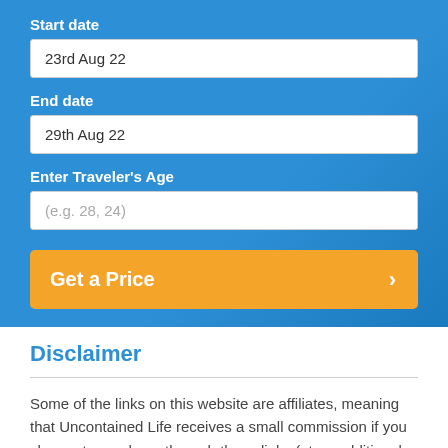Start date
23rd Aug 22
End date
29th Aug 22
Enter Traveler's Age
(e.g. 28, 24)
Get a Price
Disclaimer
Some of the links on this website are affiliates, meaning that Uncontained Life receives a small commission if you choose to purchase through these links (at no additional cost to you!) We ONLY post links to products and services that we have